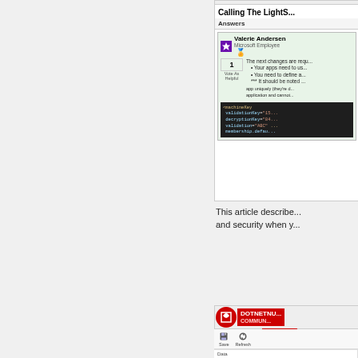[Figure (screenshot): Screenshot of a Microsoft Answers/MSDN forum page showing 'Calling The LightS...' question with an answer by Valerie Andersen (Microsoft Employee) containing code with machineKey, validationKey, decryptionKey, validation, membership elements]
This article describes and security when y...
[Figure (screenshot): Screenshot of a DotNetNuke Community portal page showing HOME, PAGE, CALL LO... navigation tabs, breadcrumb 'You are here: Call Log', and toolbar with Save and Refresh buttons, Data and Menu sections]